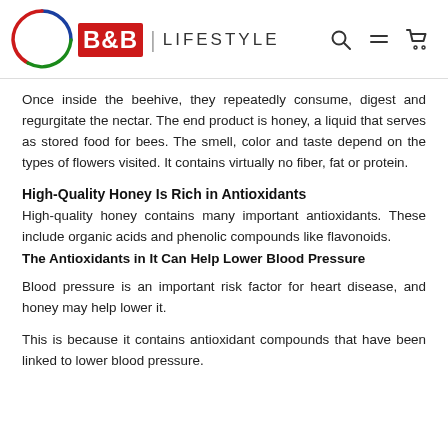B&B LIFESTYLE
Once inside the beehive, they repeatedly consume, digest and regurgitate the nectar. The end product is honey, a liquid that serves as stored food for bees. The smell, color and taste depend on the types of flowers visited. It contains virtually no fiber, fat or protein.
High-Quality Honey Is Rich in Antioxidants
High-quality honey contains many important antioxidants. These include organic acids and phenolic compounds like flavonoids.
The Antioxidants in It Can Help Lower Blood Pressure
Blood pressure is an important risk factor for heart disease, and honey may help lower it.
This is because it contains antioxidant compounds that have been linked to lower blood pressure.